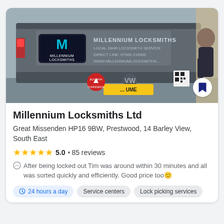[Figure (photo): Photograph of a Millennium Locksmiths van (VW), rear view, with branding showing 'MILLENNIUM LOCKSMITHS', 'LOCAL 24HR LOCKSMITH SERVICE', 'DIRECT LINE: 07966 233092', 'WWW.MILLENNIUMLOCKSMITHS...', a person opening the van, with a QR code and confidence badge visible.]
Millennium Locksmiths Ltd
Great Missenden HP16 9BW, Prestwood, 14 Barley View, South East
★★★★★ 5.0 • 85 reviews
After being locked out Tim was around within 30 minutes and all was sorted quickly and efficiently. Good price too🙂
24 hours a day
Service centers
Lock picking services